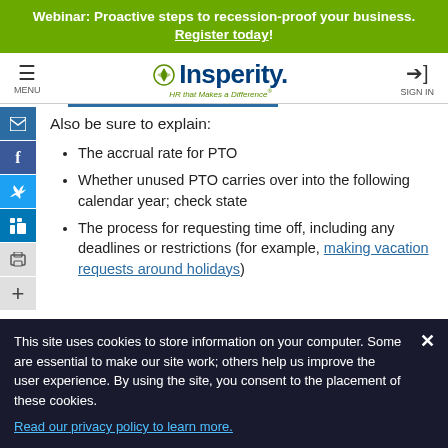Webinar: Proactive steps to recession-proof your business. Register today!
MENU | Insperity HR that Makes a Difference | SIGN IN
Also be sure to explain:
The accrual rate for PTO
Whether unused PTO carries over into the following calendar year; check state
The process for requesting time off, including any deadlines or restrictions (for example, making vacation requests around holidays)
This site uses cookies to store information on your computer. Some are essential to make our site work; others help us improve the user experience. By using the site, you consent to the placement of these cookies. Read our privacy policy to learn more.